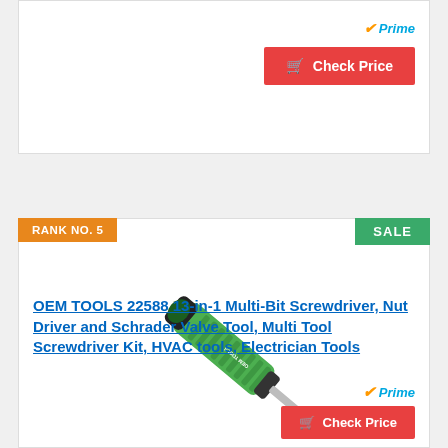[Figure (other): Top portion of a product card showing a Prime badge and red Check Price button]
[Figure (other): RANK NO. 5 badge (orange) and SALE badge (green) at top of second product card]
[Figure (photo): Photo of OEM TOOLS 22588 13-in-1 Multi-Bit Screwdriver with green handle and silver bit]
OEM TOOLS 22588 13-in-1 Multi-Bit Screwdriver, Nut Driver and Schrader Valve Tool, Multi Tool Screwdriver Kit, HVAC tools, Electrician Tools
[Figure (other): Prime badge and Check Price button at bottom of second product card]